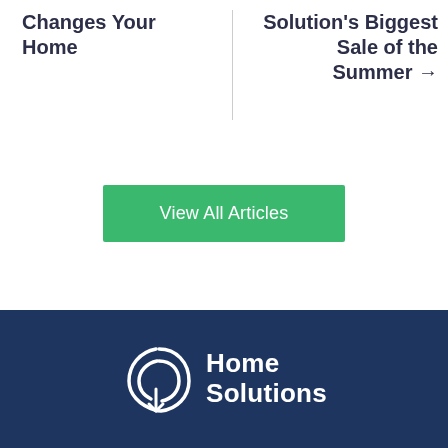Changes Your Home
Solution's Biggest Sale of the Summer →
View All Articles
[Figure (logo): Home Solutions company logo with a white circular/leaf-like icon and white text 'Home Solutions' on a dark navy background]